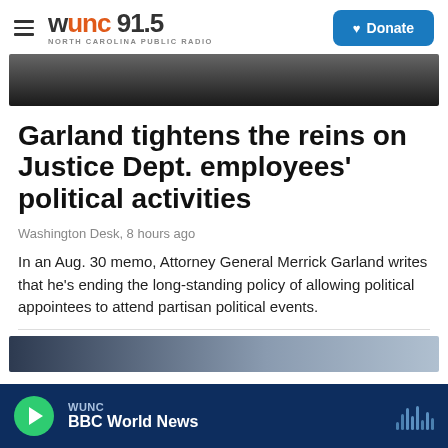WUNC 91.5 NORTH CAROLINA PUBLIC RADIO — Donate
[Figure (photo): Dark hero image, partial view of outdoor scene]
Garland tightens the reins on Justice Dept. employees' political activities
Washington Desk,  8 hours ago
In an Aug. 30 memo, Attorney General Merrick Garland writes that he's ending the long-standing policy of allowing political appointees to attend partisan political events.
[Figure (screenshot): Partial next article preview image]
WUNC — BBC World News (player bar)